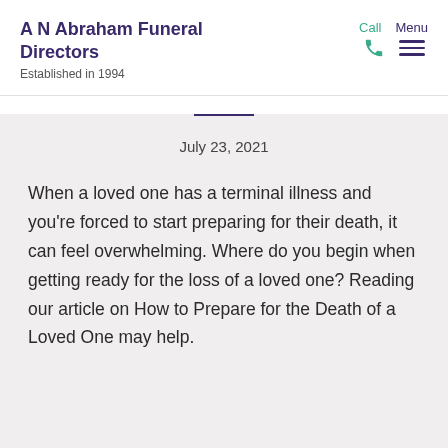A N Abraham Funeral Directors
Established in 1994
July 23, 2021
When a loved one has a terminal illness and you're forced to start preparing for their death, it can feel overwhelming. Where do you begin when getting ready for the loss of a loved one? Reading our article on How to Prepare for the Death of a Loved One may help.